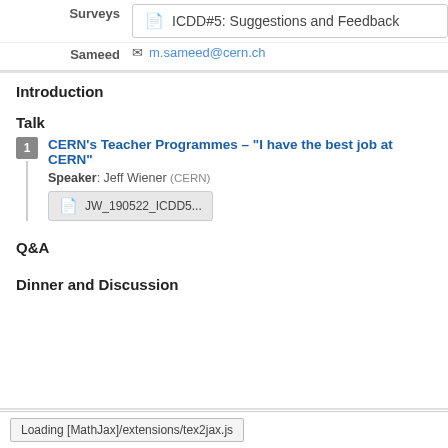Surveys  ICDD#5: Suggestions and Feedback
Sameed  m.sameed@cern.ch
Introduction
Talk
CERN's Teacher Programmes – "I have the best job at CERN"  Speaker: Jeff Wiener (CERN)  JW_190522_ICDD5...
Q&A
Dinner and Discussion
Loading [MathJax]/extensions/tex2jax.js